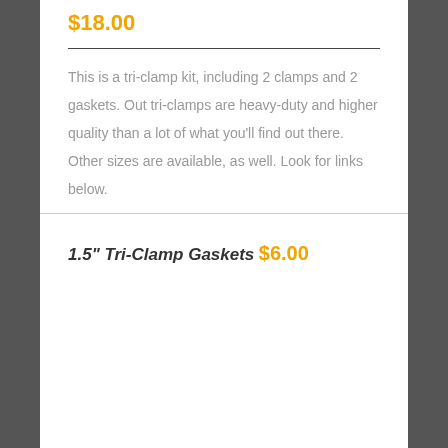$18.00
This is a tri-clamp kit, including 2 clamps and 2 gaskets. Out tri-clamps are heavy-duty and higher quality than a lot of what you'll find out there. Other sizes are available, as well. Look for links below.
1.5" Tri-Clamp Gaskets
$6.00